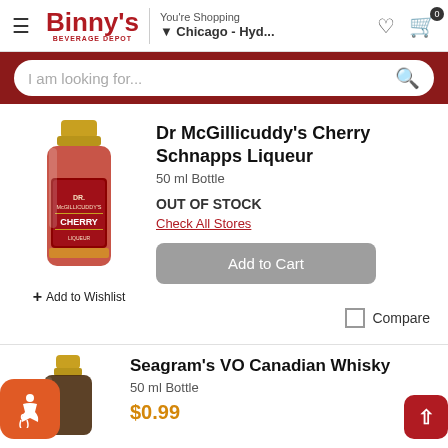Binny's Beverage Depot — You're Shopping Chicago - Hyd...
I am looking for...
[Figure (photo): Small bottle of Dr McGillicuddy's Cherry Schnapps Liqueur, 50ml, with a gold cap and red label]
Dr McGillicuddy's Cherry Schnapps Liqueur
50 ml Bottle
OUT OF STOCK
Check All Stores
Add to Cart
+ Add to Wishlist
Compare
[Figure (photo): Small bottle of Seagram's VO Canadian Whisky, 50ml, partially visible with gold cap]
Seagram's VO Canadian Whisky
50 ml Bottle
$0.99